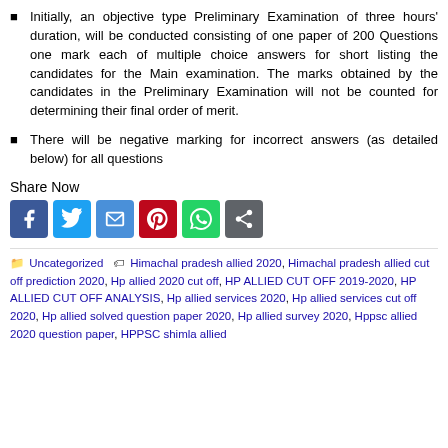Initially, an objective type Preliminary Examination of three hours' duration, will be conducted consisting of one paper of 200 Questions one mark each of multiple choice answers for short listing the candidates for the Main examination. The marks obtained by the candidates in the Preliminary Examination will not be counted for determining their final order of merit.
There will be negative marking for incorrect answers (as detailed below) for all questions
Share Now
[Figure (infographic): Social share buttons: Facebook, Twitter, Email, Pinterest, WhatsApp, Share]
Uncategorized   Himachal pradesh allied 2020, Himachal pradesh allied cut off prediction 2020, Hp allied 2020 cut off, HP ALLIED CUT OFF 2019-2020, HP ALLIED CUT OFF ANALYSIS, Hp allied services 2020, Hp allied services cut off 2020, Hp allied solved question paper 2020, Hp allied survey 2020, Hppsc allied 2020 question paper, HPPSC shimla allied